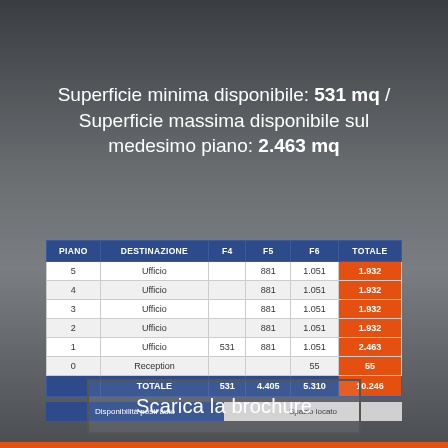Superficie minima disponibile: 531 mq / Superficie massima disponibile sul medesimo piano: 2.463 mq
| PIANO | DESTINAZIONE | F4 | F5 | F6 | TOTALE |
| --- | --- | --- | --- | --- | --- |
| 5 | Ufficio |  | 881 | 1.051 | 1.932 |
| 4 | Ufficio |  | 881 | 1.051 | 1.932 |
| 3 | Ufficio |  | 881 | 1.051 | 1.932 |
| 2 | Ufficio |  | 881 | 1.051 | 1.932 |
| 1 | Ufficio | 531 | 881 | 1.051 | 2.463 |
| 0 | Reception |  |  | 55 | 55 |
|  | TOTALE | 531 | 4.405 | 5.310 | 10.246 |
Disponibilità posti auto | Spazio locato
Scarica la brochure